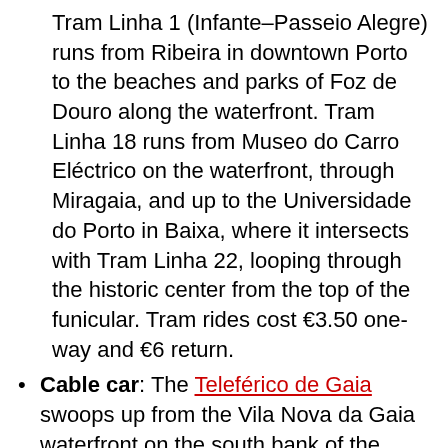Tram Linha 1 (Infante–Passeio Alegre) runs from Ribeira in downtown Porto to the beaches and parks of Foz de Douro along the waterfront. Tram Linha 18 runs from Museo do Carro Eléctrico on the waterfront, through Miragaia, and up to the Universidade do Porto in Baixa, where it intersects with Tram Linha 22, looping through the historic center from the top of the funicular. Tram rides cost €3.50 one-way and €6 return.
Cable car: The Teleférico de Gaia swoops up from the Vila Nova da Gaia waterfront on the south bank of the Douro, to the top, and left at Jardim do...